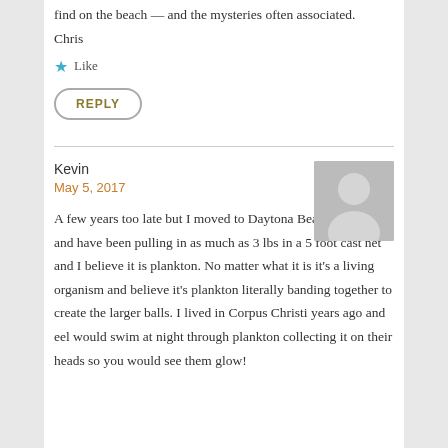find on the beach — and the mysteries often associated.
Chris
★ Like
REPLY
Kevin
May 5, 2017
[Figure (photo): Generic avatar placeholder image showing silhouette of a person on grey background]
A few years too late but I moved to Daytona Beach in 2015 and have been pulling in as much as 3 lbs in a 5 foot cast net and I believe it is plankton. No matter what it is it's a living organism and believe it's plankton literally banding together to create the larger balls. I lived in Corpus Christi years ago and eel would swim at night through plankton collecting it on their heads so you would see them glow!